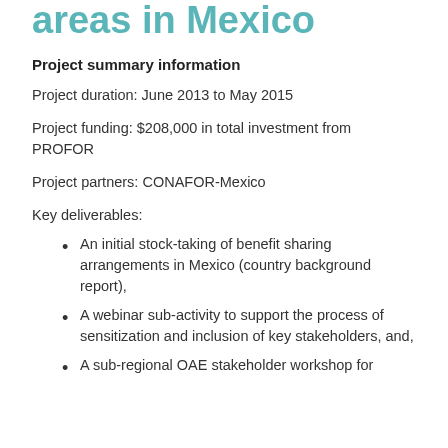areas in Mexico
Project summary information
Project duration: June 2013 to May 2015
Project funding: $208,000 in total investment from PROFOR
Project partners: CONAFOR-Mexico
Key deliverables:
An initial stock-taking of benefit sharing arrangements in Mexico (country background report),
A webinar sub-activity to support the process of sensitization and inclusion of key stakeholders, and,
A sub-regional OAE stakeholder workshop for